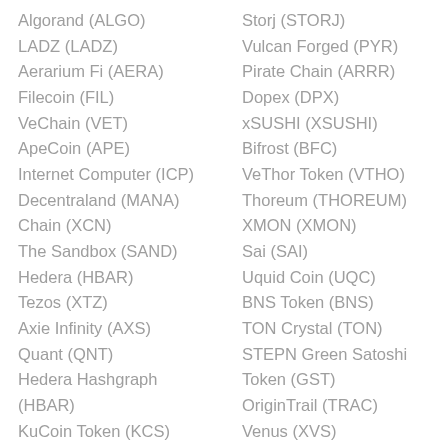Algorand (ALGO)
LADZ (LADZ)
Aerarium Fi (AERA)
Filecoin (FIL)
VeChain (VET)
ApeCoin (APE)
Internet Computer (ICP)
Decentraland (MANA)
Chain (XCN)
The Sandbox (SAND)
Hedera (HBAR)
Tezos (XTZ)
Axie Infinity (AXS)
Quant (QNT)
Hedera Hashgraph (HBAR)
KuCoin Token (KCS)
EOS (EOS)
Frax (FRAX)
Storj (STORJ)
Vulcan Forged (PYR)
Pirate Chain (ARRR)
Dopex (DPX)
xSUSHI (XSUSHI)
Bifrost (BFC)
VeThor Token (VTHO)
Thoreum (THOREUM)
XMON (XMON)
Sai (SAI)
Uquid Coin (UQC)
BNS Token (BNS)
TON Crystal (TON)
STEPN Green Satoshi Token (GST)
OriginTrail (TRAC)
Venus (XVS)
DEI Token (DEI)
Voyager VGX (VGX)